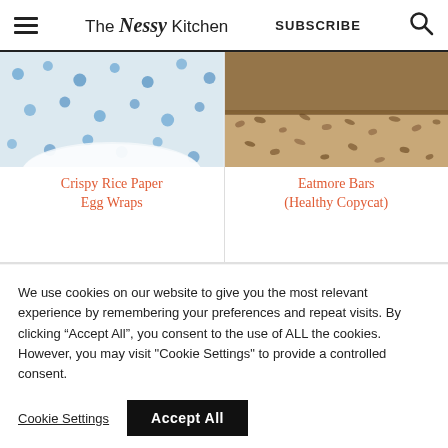The Nessy Kitchen  SUBSCRIBE
[Figure (photo): Top portion of a white bowl with blue polka dots on a light background]
[Figure (photo): Close-up of a granola/oat bar with chocolate coating on a woven surface]
Crispy Rice Paper Egg Wraps
Eatmore Bars (Healthy Copycat)
We use cookies on our website to give you the most relevant experience by remembering your preferences and repeat visits. By clicking “Accept All”, you consent to the use of ALL the cookies. However, you may visit "Cookie Settings" to provide a controlled consent.
Cookie Settings
Accept All